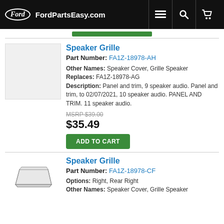FordPartsEasy.com
Speaker Grille
Part Number: FA1Z-18978-AH
Other Names: Speaker Cover, Grille Speaker
Replaces: FA1Z-18978-AG
Description: Panel and trim, 9 speaker audio. Panel and trim, to 02/07/2021, 10 speaker audio. PANEL AND TRIM. 11 speaker audio.
MSRP $39.00
$35.49
ADD TO CART
Speaker Grille
Part Number: FA1Z-18978-CF
Options: Right, Rear Right
Other Names: Speaker Cover, Grille Speaker
[Figure (illustration): Illustration of a speaker grille part, flat trapezoidal panel shape]